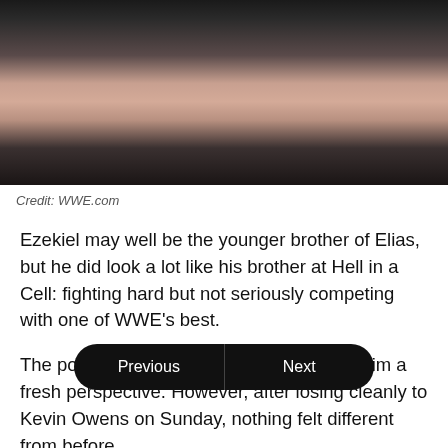[Figure (photo): Blurred photo of a person, partially obscured, dark background with skin tones visible]
Credit: WWE.com
Ezekiel may well be the younger brother of Elias, but he did look a lot like his brother at Hell in a Cell: fighting hard but not seriously competing with one of WWE's best.
The point of repackaging him was to give him a fresh perspective. However, after losing cleanly to Kevin Owens on Sunday, nothing felt different from before.
While Ezekiel d[Previous][Next]ed more than this. This was a chance to prove himself as an exciting
[Figure (screenshot): Navigation bar with Previous and Next buttons]